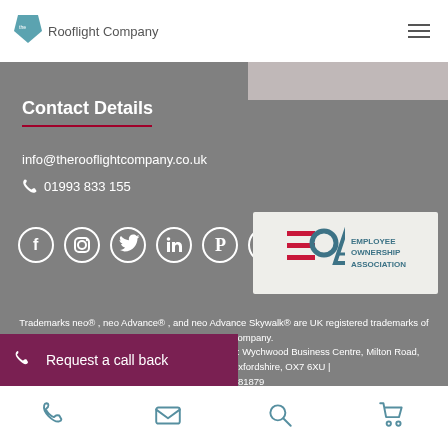the Rooflight Company
Contact Details
info@therooflightcompany.co.uk
01993 833 155
[Figure (logo): Social media icons: Facebook, Instagram, Twitter, LinkedIn, Pinterest, YouTube]
[Figure (logo): Employee Ownership Association badge logo]
Trademarks neo® , neo Advance® , and neo Advance Skywalk® are UK registered trademarks of the Rooflight Company. ©2022 the Rooflight Company | Registered Office: Wychwood Business Centre, Milton Road, Shipton under Wychwood, Oxfordshire, OX7 6XU | y Number:2881879
Request a call back
Phone | Email | Search | Cart